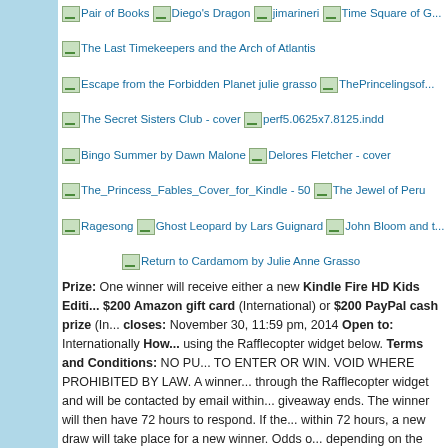[Figure (screenshot): Row of book cover image thumbnails with titles as alt text: Pair of Books, Diego's Dragon, jimarineri, Time Square of G..., The Last Timekeepers and the Arch of Atlantis, Escape from the Forbidden Planet julie grasso, ThePrincelingsof..., The Secret Sisters Club - cover, perf5.0625x7.8125.indd, Bingo Summer by Dawn Malone, Delores Fletcher - cover, The_Princess_Fables_Cover_for_Kindle - 50, The Jewel of Peru, Ragesong, Ghost Leopard by Lars Guignard, John Bloom and t..., Return to Cardamom by Julie Anne Grasso]
Prize: One winner will receive either a new Kindle Fire HD Kids Edition, $200 Amazon gift card (International) or $200 PayPal cash prize (In... closes: November 30, 11:59 pm, 2014 Open to: Internationally How... using the Rafflecopter widget below. Terms and Conditions: NO PU... TO ENTER OR WIN. VOID WHERE PROHIBITED BY LAW. A winner... through the Rafflecopter widget and will be contacted by email within... giveaway ends. The winner will then have 72 hours to respond. If the... within 72 hours, a new draw will take place for a new winner. Odds o... depending on the number of eligible entries received. This contest is ... endorsed or administered by, or associated with Facebook. This givea... managed by Renee from Mother Daughter Book Reviews. If you have – feel free to send and email to Renee(at)MotherDaughterBookRevie... When the winner is chosen, ALL of their entries will be verified. I entries is invalid, they will be disqualified and a new winner will b... giveaway MDBR Book Promotion Services
1 comment: